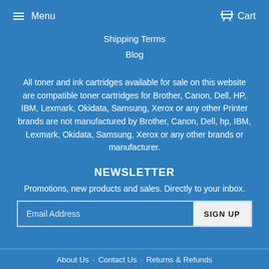Menu   Cart
Shipping Terms
Blog
All toner and ink cartridges available for sale on this website are compatible toner cartridges for Brother, Canon, Dell, HP, IBM, Lexmark, Okidata, Samsung, Xerox or any other Printer brands are not manufactured by Brother, Canon, Dell, hp, IBM, Lexmark, Okidata, Samsung, Xerox or any other brands or manufacturer.
NEWSLETTER
Promotions, new products and sales. Directly to your inbox.
Email Address   SIGN UP
About Us   Contact Us   Returns & Refunds